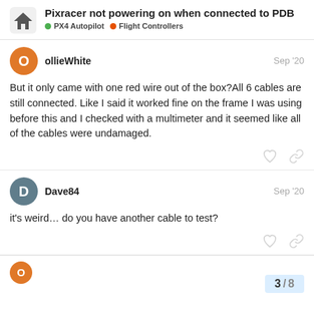Pixracer not powering on when connected to PDB | PX4 Autopilot | Flight Controllers
ollieWhite Sep '20
But it only came with one red wire out of the box?All 6 cables are still connected. Like I said it worked fine on the frame I was using before this and I checked with a multimeter and it seemed like all of the cables were undamaged.
Dave84 Sep '20
it's weird… do you have another cable to test?
3 / 8